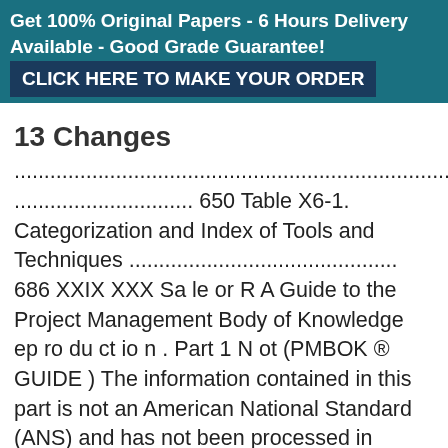Get 100% Original Papers - 6 Hours Delivery Available - Good Grade Guarantee! CLICK HERE TO MAKE YOUR ORDER
13 Changes
...........................................................................................................................................
.............................. 650 Table X6-1. Categorization and Index of Tools and Techniques ............................................. 686 XXIX XXX Sa le or R A Guide to the Project Management Body of Knowledge ep ro du ct io n . Part 1 N ot (PMBOK ® GUIDE ) The information contained in this part is not an American National Standard (ANS) and has not been processed in accordance with ANSI's requirements for an ANS. As such, the information in this part may contain material that has not been subjected to public review or a co
[Figure (infographic): Live Support ONLINE badge with teal background, yellow arrows, and CLICK FOR LIVE SUPPORT text]